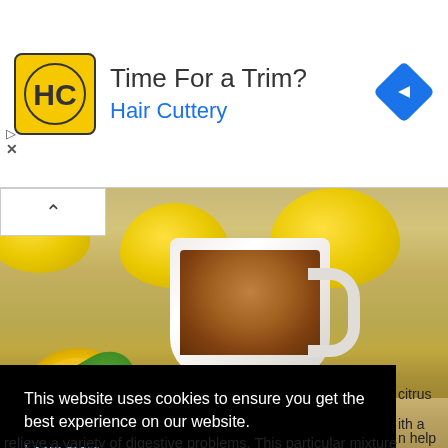[Figure (other): Advertisement banner for Hair Cuttery with logo, text 'Time For a Trim?' and 'Hair Cuttery', and a blue diamond navigation arrow icon]
[Figure (photo): Photograph of a cup of tea with lemons, lemon half, and mint leaves on a wooden surface]
This website uses cookies to ensure you get the best experience on our website. Learn more
citrus
ith a
n help
relieve a variety of digestive problems. This particular mixture